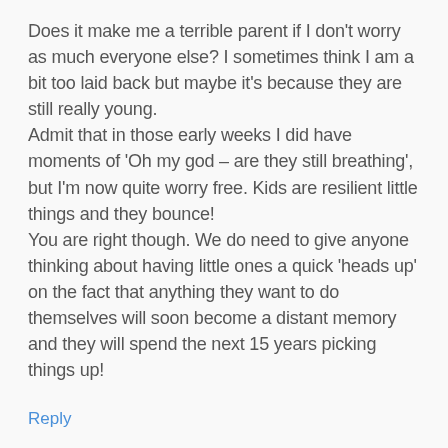Does it make me a terrible parent if I don't worry as much everyone else? I sometimes think I am a bit too laid back but maybe it's because they are still really young.
Admit that in those early weeks I did have moments of 'Oh my god – are they still breathing', but I'm now quite worry free. Kids are resilient little things and they bounce!
You are right though. We do need to give anyone thinking about having little ones a quick 'heads up' on the fact that anything they want to do themselves will soon become a distant memory and they will spend the next 15 years picking things up!
Reply